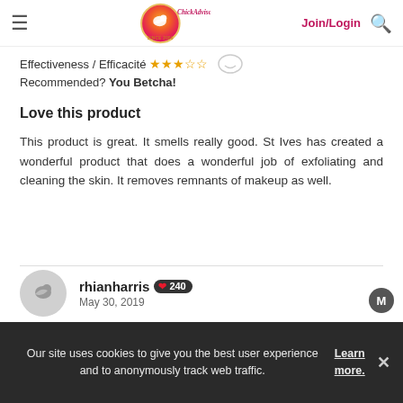[Figure (logo): ChickAdvisor logo - bird in orange/red gradient circle, 'SINCE 2006' text, pink cursive brand name]
Effectiveness / Efficacité ★★★½☆
Recommended? You Betcha!
Love this product
This product is great. It smells really good. St Ives has created a wonderful product that does a wonderful job of exfoliating and cleaning the skin. It removes remnants of makeup as well.
rhianharris ❤ 240
May 30, 2019
Our site uses cookies to give you the best user experience and to anonymously track web traffic. Learn more.